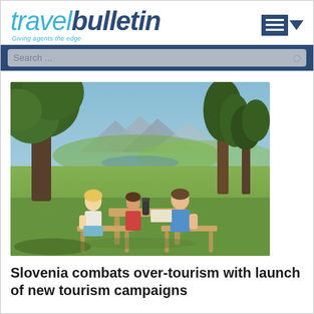travelbulletin — Giving agents the edge
[Figure (photo): People sitting at an outdoor wooden picnic table under a tree with a scenic mountain valley landscape in the background, sunny day, green fields, trees]
Slovenia combats over-tourism with launch of new tourism campaigns